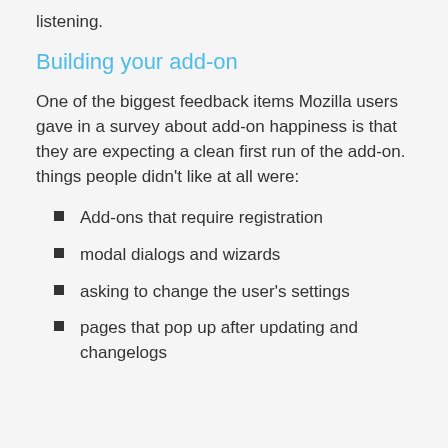listening.
Building your add-on
One of the biggest feedback items Mozilla users gave in a survey about add-on happiness is that they are expecting a clean first run of the add-on. things people didn’t like at all were:
Add-ons that require registration
modal dialogs and wizards
asking to change the user’s settings
pages that pop up after updating and changelogs